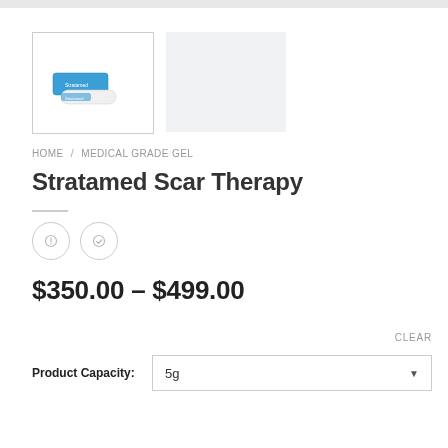[Figure (photo): Thumbnail showing Stratamed scar therapy gel tubes — blue and white packaging]
[Figure (photo): Second thumbnail placeholder — light grey box]
HOME / MEDICAL GRADE GEL
Stratamed Scar Therapy
$350.00 – $499.00
CLEAR
Product Capacity: 5g